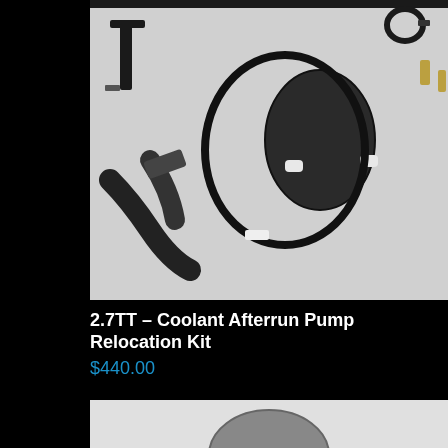[Figure (photo): Product photo showing coolant afterrun pump relocation kit parts laid out on white surface: black hoses, pump unit with wiring harness, bracket, clamp, and bolts]
2.7TT – Coolant Afterrun Pump Relocation Kit
$440.00
[Figure (photo): Partial product photo showing another product, cut off at bottom of page]